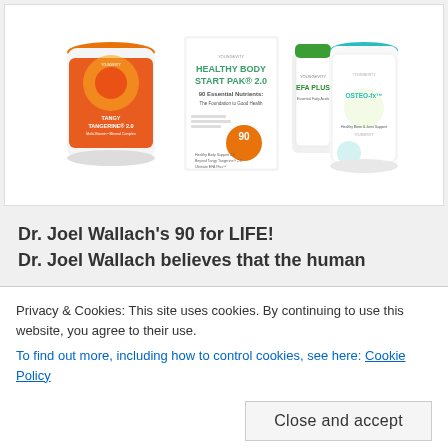[Figure (photo): Youngevity Healthy Body Start Pak 2.0 product lineup showing supplement containers: Tangy Tangerine 2.0, Healthy Body Start Pak 2.0 box, EPA Plus bottle, and Osteo-fx container with teal lid]
Dr. Joel Wallach's 90 for LIFE!
Dr. Joel Wallach believes that the human
Privacy & Cookies: This site uses cookies. By continuing to use this website, you agree to their use.
To find out more, including how to control cookies, see here: Cookie Policy